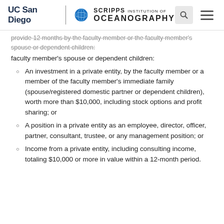UC San Diego | Scripps Institution of Oceanography
provide 12 months by the faculty member or the faculty member's spouse or dependent children:
An investment in a private entity, by the faculty member or a member of the faculty member's immediate family (spouse/registered domestic partner or dependent children), worth more than $10,000, including stock options and profit sharing; or
A position in a private entity as an employee, director, officer, partner, consultant, trustee, or any management position; or
Income from a private entity, including consulting income, totaling $10,000 or more in value within a 12-month period.